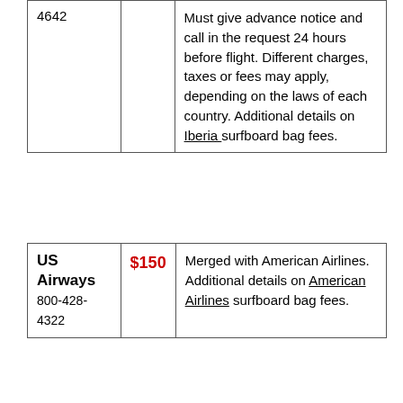| Airline | Fee | Details |
| --- | --- | --- |
| 4642 |  | Must give advance notice and call in the request 24 hours before flight. Different charges, taxes or fees may apply, depending on the laws of each country. Additional details on Iberia surfboard bag fees. |
| US Airways
800-428-4322 | $150 | Merged with American Airlines. Additional details on American Airlines surfboard bag fees. |